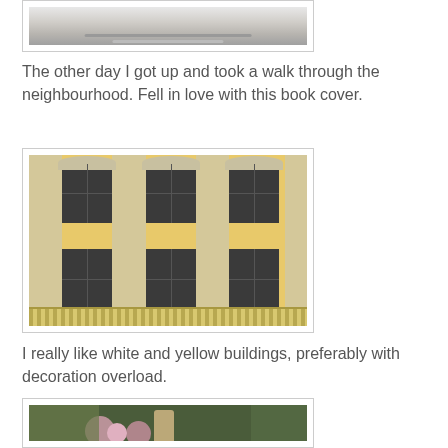[Figure (photo): Partial top of a photo showing what appears to be a book or laptop on a surface]
The other day I got up and took a walk through the neighbourhood. Fell in love with this book cover.
[Figure (photo): Yellow and white ornate building facade with decorative arches above windows, Baroque/Art Nouveau architecture style]
I really like white and yellow buildings, preferably with decoration overload.
[Figure (photo): Close-up of decorative flowers, possibly on a hat or accessory, with pink fabric flowers and greenery in background]